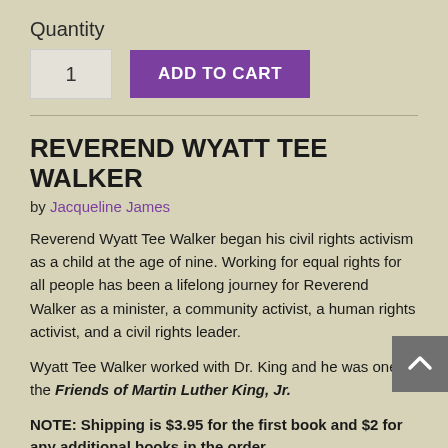Quantity
[Figure (screenshot): Quantity input box showing '1' and a purple 'ADD TO CART' button]
REVEREND WYATT TEE WALKER
by Jacqueline James
Reverend Wyatt Tee Walker began his civil rights activism as a child at the age of nine. Working for equal rights for all people has been a lifelong journey for Reverend Walker as a minister, a community activist, a human rights activist, and a civil rights leader.
Wyatt Tee Walker worked with Dr. King and he was one of the Friends of Martin Luther King, Jr.
NOTE: Shipping is $3.95 for the first book and $2 for any additional books in the order.